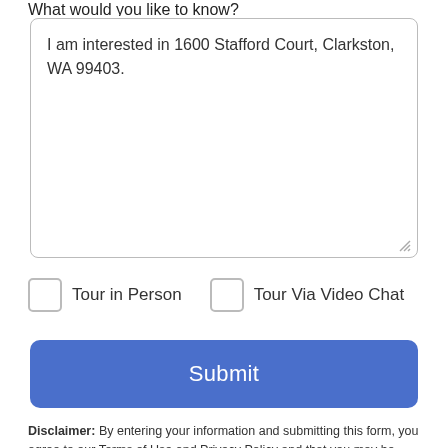What would you like to know?
I am interested in 1600 Stafford Court, Clarkston, WA 99403.
Tour in Person
Tour Via Video Chat
Submit
Disclaimer: By entering your information and submitting this form, you agree to our Terms of Use and Privacy Policy and that you may be contacted by phone, text message and email about your inquiry.
Take a Tour
Ask A Question